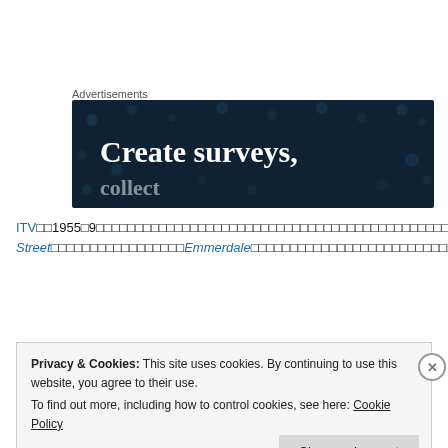Advertisements
[Figure (illustration): Dark navy blue advertisement banner with circular dot pattern in background. White serif bold text reads 'Create surveys,' partially visible.]
ITV□□1955□9□□□□□□□□□□□□□□□□□□□□□□□□□□□□□□□□□□□□□□□□□□□□□□□□□□□□□□□□□□□□□□□□□90□□□□□□□Coronation Street□□□□□□□□□□□□□□□Emmerdale□□□□□□□□□□□□□□□□□□□□□□□□□□□□□□□□□□□□□□□□□□□□□□□□□□□□□ITV□□□□□□□□□□□□□□□□□□□□□□□□□
Privacy & Cookies: This site uses cookies. By continuing to use this website, you agree to their use.
To find out more, including how to control cookies, see here: Cookie Policy
Close and accept